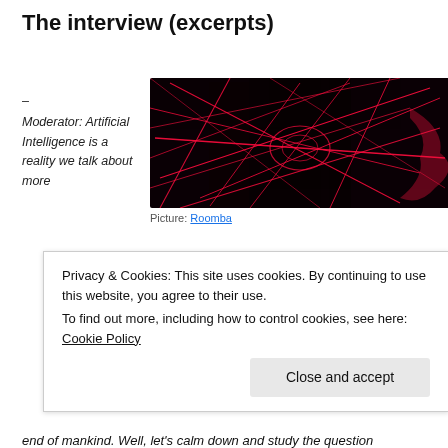The interview (excerpts)
– Moderator: Artificial Intelligence is a reality we talk about more
[Figure (photo): Photo of a dark surface with glowing red laser lines in complex overlapping patterns, resembling a Roomba path drawing]
Picture: Roomba
Privacy & Cookies: This site uses cookies. By continuing to use this website, you agree to their use.
To find out more, including how to control cookies, see here: Cookie Policy
end of mankind. Well, let's calm down and study the question